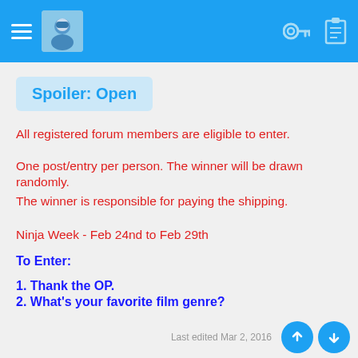Navigation header with hamburger menu, avatar image, key icon, and clipboard icon
Spoiler: Open
All registered forum members are eligible to enter.
One post/entry per person. The winner will be drawn randomly.
The winner is responsible for paying the shipping.
Ninja Week - Feb 24nd to Feb 29th
To Enter:
1. Thank the OP.
2. What's your favorite film genre?
Good Luck Ninjas! Enjoy Ninja Week 2016!
Last edited Mar 2, 2016